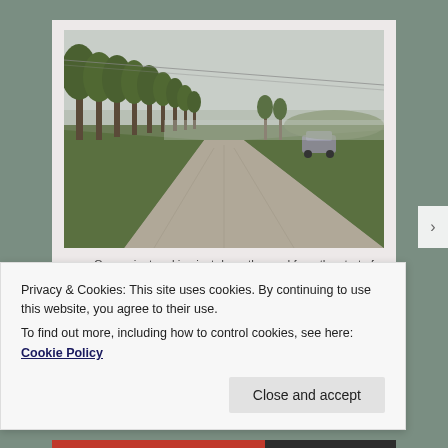[Figure (photo): A gravel path/road lined with tall trees on the left side, green grass fields, overcast sky, and a car parked on the right side of the path in the distance.]
— Convenient parking just down the road from the start of
Privacy & Cookies: This site uses cookies. By continuing to use this website, you agree to their use.
To find out more, including how to control cookies, see here: Cookie Policy
Close and accept